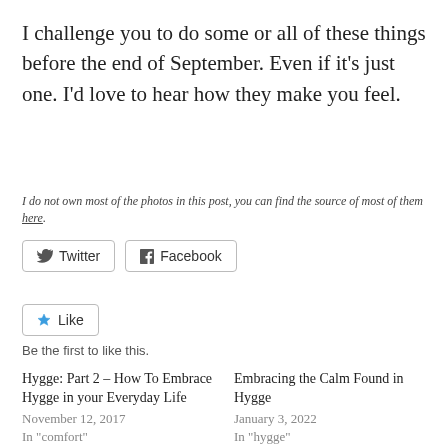I challenge you to do some or all of these things before the end of September. Even if it's just one. I'd love to hear how they make you feel.
I do not own most of the photos in this post, you can find the source of most of them here.
[Figure (other): Share buttons: Twitter and Facebook]
[Figure (other): Like button with star icon and 'Be the first to like this.' text]
Be the first to like this.
Hygge: Part 2 – How To Embrace Hygge in your Everyday Life
November 12, 2017
In "comfort"
Embracing the Calm Found in Hygge
January 3, 2022
In "hygge"